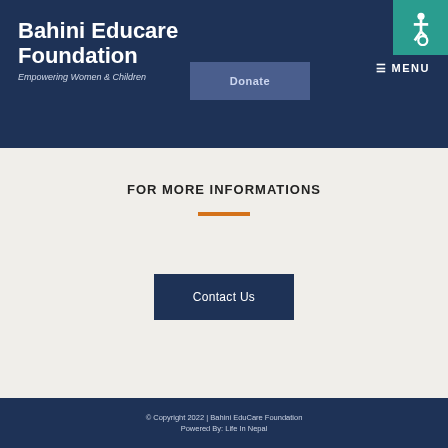Bahini Educare Foundation
Empowering Women & Children
Donate
≡ MENU
FOR MORE INFORMATIONS
Contact Us
© Copyright 2022 | Bahini EduCare Foundation
Powered By: Life In Nepal